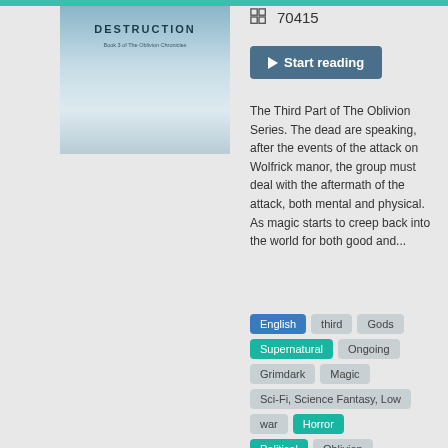[Figure (illustration): Book cover for a novel in The Oblivion Chronicles series, showing a dark atmospheric scene with misty blue-grey tones and the book title text.]
70415
▶ Start reading
The Third Part of The Oblivion Series. The dead are speaking, after the events of the attack on Wolfrick manor, the group must deal with the aftermath of the attack, both mental and physical. As magic starts to creep back into the world for both good and...
English
third
Gods
Supernatural
Ongoing
Grimdark
Magic
Sci-Fi, Science Fantasy, Low
war
Horror
Political
Oblivion